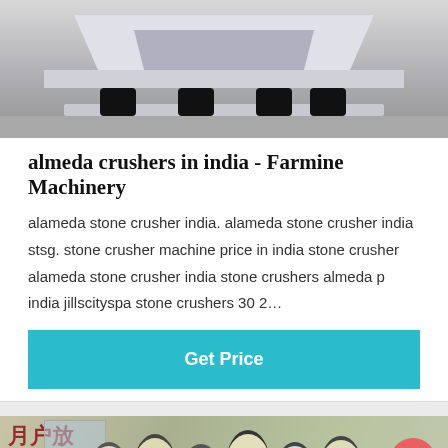[Figure (photo): Top portion of industrial crushing machine on a platform with black cylindrical legs, photographed outdoors on a concrete surface.]
almeda crushers in india - Farmine Machinery
alameda stone crusher india. alameda stone crusher india stsg. stone crusher machine price in india stone crusher alameda stone crusher india stone crushers almeda p india jillscityspa stone crushers 30 2…
Get Price
[Figure (photo): Outdoor photo of multiple large yellow-white cone crushers at a factory yard with Chinese characters visible on a building in the background. A pink circular button with an upward arrow is overlaid in the top right. A dark footer bar shows Leave Message on the left, Chat Online on the right, and a circular avatar of a woman with a headset in the center.]